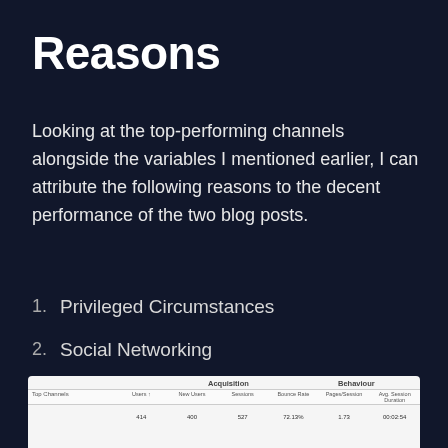Reasons
Looking at the top-performing channels alongside the variables I mentioned earlier, I can attribute the following reasons to the decent performance of the two blog posts.
1. Privileged Circumstances
2. Social Networking
3. Perks of the platform
[Figure (screenshot): Screenshot of a web analytics table showing Top Channels with Acquisition (Users, New Users, Sessions) and Behaviour (Bounce Rate, Pages/Session, Avg. Session Duration) columns with partial data rows visible.]